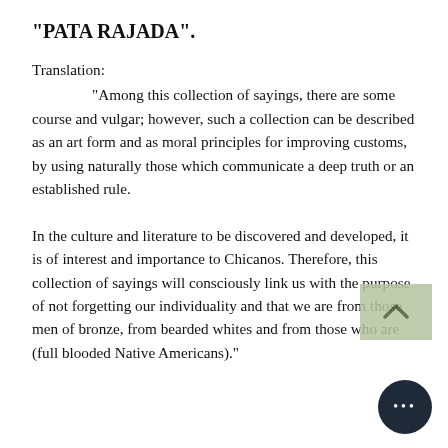“PATA RAJADA”.
Translation:
“Among this collection of sayings, there are some course and vulgar; however, such a collection can be described as an art form and as moral principles for improving customs, by using naturally those which communicate a deep truth or an established rule.
In the culture and literature to be discovered and developed, it is of interest and importance to Chicanos. Therefore, this collection of sayings will consciously link us with the purpose of not forgetting our individuality and that we are from those men of bronze, from bearded whites and from those who are (full blooded Native Americans).”